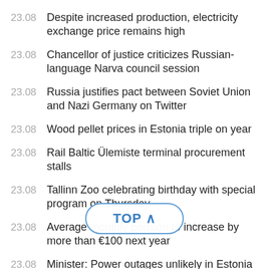23.08 Despite increased production, electricity exchange price remains high
23.08 Chancellor of justice criticizes Russian-language Narva council session
23.08 Russia justifies pact between Soviet Union and Nazi Germany on Twitter
23.08 Wood pellet prices in Estonia triple on year
23.08 Rail Baltic Ülemiste terminal procurement stalls
23.08 Tallinn Zoo celebrating birthday with special program on Thursday
23.08 Average monthly pension to increase by more than €100 next year
23.08 Minister: Power outages unlikely in Estonia but risks have gone
23.08 Vanemuine Theater opens new season with